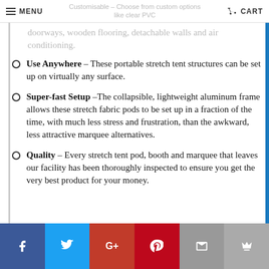MENU  CART
Customisable – Choose from custom options like clear PVC doorways, wooden flooring, detachable walls and air conditioning.
Use Anywhere – These portable stretch tent structures can be set up on virtually any surface.
Super-fast Setup –The collapsible, lightweight aluminum frame allows these stretch fabric pods to be set up in a fraction of the time, with much less stress and frustration, than the awkward, less attractive marquee alternatives.
Quality – Every stretch tent pod, booth and marquee that leaves our facility has been thoroughly inspected to ensure you get the very best product for your money.
f  Twitter  G+  Pinterest  Email  Crown